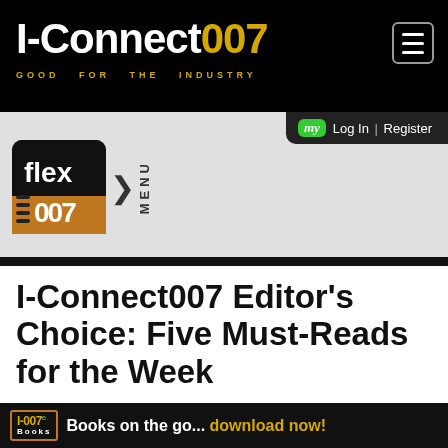I-Connect007 — GOOD FOR THE INDUSTRY
[Figure (logo): Flex007 navigation menu logo with black square icon showing 'flex' text and 007 graphic, with MENU label]
my  Log In | Register
I-Connect007 Editor's Choice: Five Must-Reads for the Week
[Figure (logo): I-007e Books banner — Books on the go... download now!]